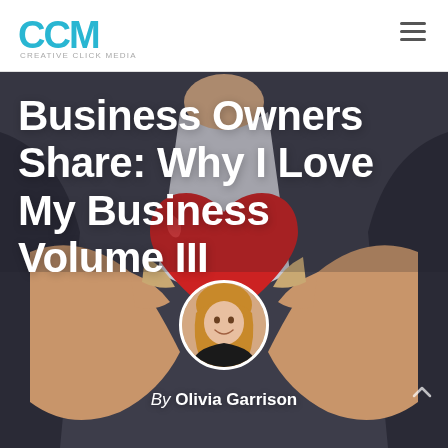Creative Click Media
[Figure (photo): Person in suit holding a red heart shape with both hands, close-up shot, dark background]
Business Owners Share: Why I Love My Business Volume III
[Figure (photo): Circular author headshot of a young woman with long blonde hair smiling, wearing black top]
By Olivia Garrison